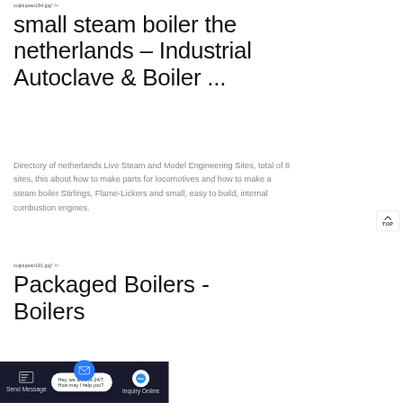suijitupian184.jpg" />
small steam boiler the netherlands – Industrial Autoclave & Boiler ...
Directory of netherlands Live Steam and Model Engineering Sites, total of 8 sites, this about how to make parts for locomotives and how to make a steam boiler Stirlings, Flame-Lickers and small, easy to build, internal combustion engines.
suijitupian191.jpg" />
Packaged Boilers - Boilers
Hey, we are live 24/7. How may I help you?